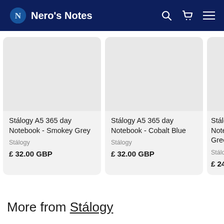Nero's Notes
[Figure (screenshot): Product card: Stálogy A5 365 day Notebook - Smokey Grey, Stálogy, £ 32.00 GBP]
[Figure (screenshot): Product card: Stálogy A5 365 day Notebook - Cobalt Blue, Stálogy, £ 32.00 GBP]
[Figure (screenshot): Product card (partial): Stálogy A5 365 day Notebook - Green, Stálogy, £ 24...]
More from Stálogy